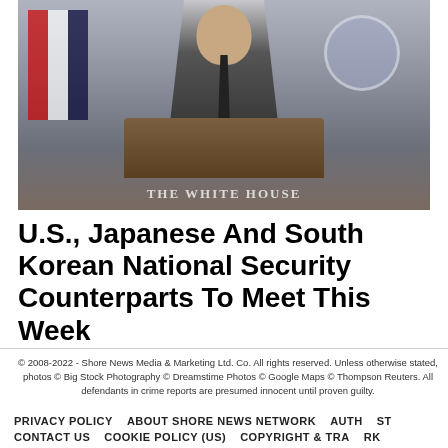[Figure (photo): A person in a dark suit standing at a White House press briefing room podium, with an American flag to the left and the White House seal to the right. A 'THE WHITE HOUSE' label is visible on the podium area.]
U.S., Japanese And South Korean National Security Counterparts To Meet This Week
© 2008-2022 - Shore News Media & Marketing Ltd. Co. All rights reserved. Unless otherwise stated, photos © Big Stock Photography © Dreamstime Photos © Google Maps © Thompson Reuters. All defendants in crime reports are presumed innocent until proven guilty.
PRIVACY POLICY   ABOUT SHORE NEWS NETWORK   AUTH   GO TO   ST   CONTACT US   COOKIE POLICY (US)   COPYRIGHT & TRA   TOP   RK